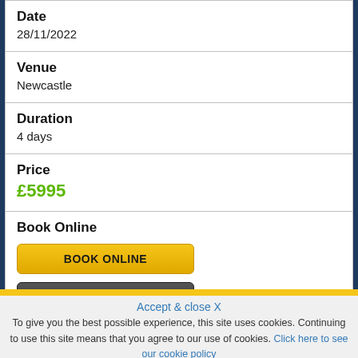| Date | 28/11/2022 |
| Venue | Newcastle |
| Duration | 4 days |
| Price | £5995 |
| Book Online | BOOK ONLINE / ENQUIRE |
Accept & close X
To give you the best possible experience, this site uses cookies. Continuing to use this site means that you agree to our use of cookies. Click here to see our cookie policy